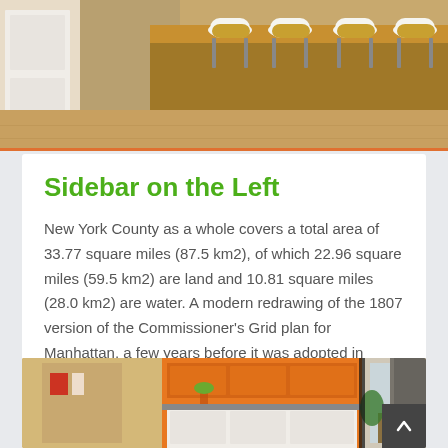[Figure (photo): Interior dining room photo showing a wooden dining table with white Eames-style chairs and light wood floors]
Sidebar on the Left
New York County as a whole covers a total area of 33.77 square miles (87.5 km2), of which 22.96 square miles (59.5 km2) are land and 10.81 square miles (28.0 km2) are water. A modern redrawing of the 1807 version of the Commissioner's Grid plan for Manhattan, a few years before it was adopted in 1811. Central Park is absent. One neighborhood of New ...
Buying Properties, Location, Price, Real Estate   May 27, 2014
0
[Figure (photo): Interior kitchen photo showing orange cabinetry, white cabinets, and modern appliances]